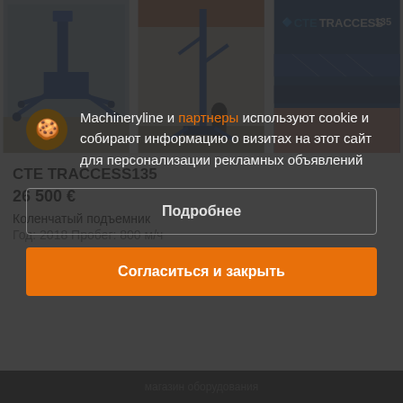[Figure (photo): Three photos of CTE TRACCESS 135 spider lift / articulated boom lift: left shows blue spider lift with outriggers deployed on pavement, middle shows person next to tall extended spider lift near building, right shows close-up of blue boom with CTE TRACCESS 135 logo]
CTE TRACCESS135
26 500 €
Коленчатый подъемник
Год: 2018  Пробег: 800 м/ч
Machineryline и партнеры используют cookie и собирают информацию о визитах на этот сайт для персонализации рекламных объявлений
Подробнее
Согласиться и закрыть